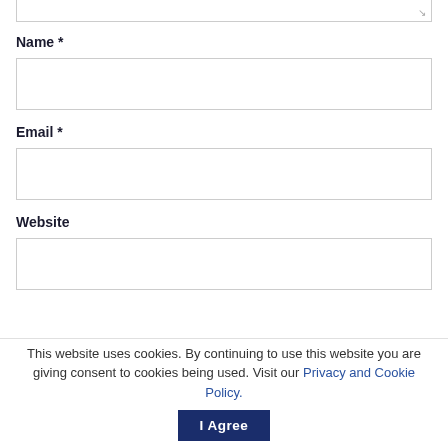[Figure (screenshot): Top portion of a textarea input (cut off at top of page)]
Name *
[Figure (screenshot): Empty text input box for Name field]
Email *
[Figure (screenshot): Empty text input box for Email field]
Website
[Figure (screenshot): Empty text input box for Website field]
Save my name, email, and website in this browser for the next time I comment.
This website uses cookies. By continuing to use this website you are giving consent to cookies being used. Visit our Privacy and Cookie Policy.